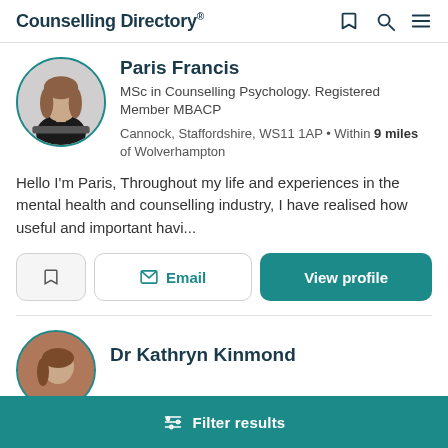Counselling Directory
Paris Francis
MSc in Counselling Psychology. Registered Member MBACP
Cannock, Staffordshire, WS11 1AP • Within 9 miles of Wolverhampton
Hello I'm Paris, Throughout my life and experiences in the mental health and counselling industry, I have realised how useful and important havi...
Dr Kathryn Kinmond
Filter results